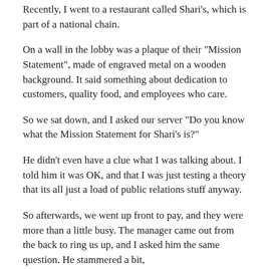Recently, I went to a restaurant called Shari's, which is part of a national chain.
On a wall in the lobby was a plaque of their "Mission Statement", made of engraved metal on a wooden background. It said something about dedication to customers, quality food, and employees who care.
So we sat down, and I asked our server "Do you know what the Mission Statement for Shari's is?"
He didn't even have a clue what I was talking about. I told him it was OK, and that I was just testing a theory that its all just a load of public relations stuff anyway.
So afterwards, we went up front to pay, and they were more than a little busy. The manager came out from the back to ring us up, and I asked him the same question. He stammered a bit,